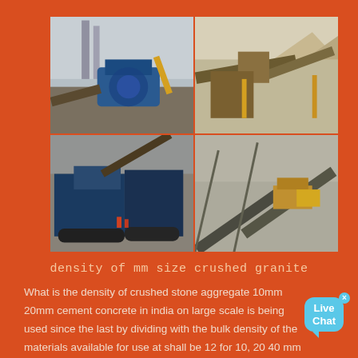[Figure (photo): Four photos of industrial stone crushing and aggregate processing machinery and conveyor systems at quarry/mining sites]
density of mm size crushed granite
What is the density of crushed stone aggregate 10mm 20mm cement concrete in india on large scale is being used since the last by dividing with the bulk density of the materials available for use at shall be 12 for 10, 20 40 mm maximum size of coarse river ...